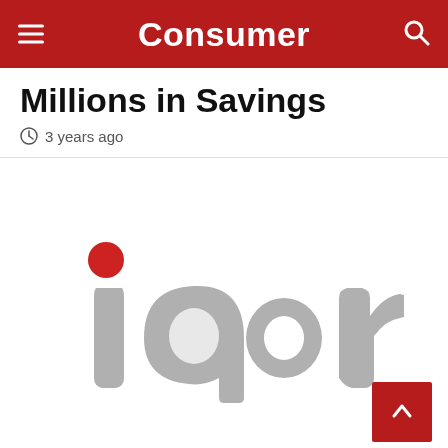Consumer
Millions in Savings
3 years ago
[Figure (logo): iQor company logo in gray italic lettering with a red dot above the letter i]